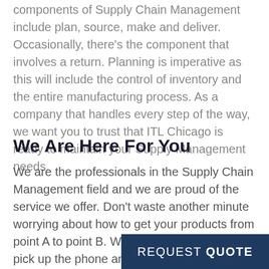components of Supply Chain Management include plan, source, make and deliver. Occasionally, there's the component that involves a return. Planning is imperative as this will include the control of inventory and the entire manufacturing process. As a company that handles every step of the way, we want you to trust that ITL Chicago is ready to maintain your Supply Management needs.
We Are Here For You
We are the professionals in the Supply Chain Management field and we are proud of the service we offer. Don't waste another minute worrying about how to get your products from point A to point B. We are here to help. Just pick up the phone and call 630-206-1532 or fill out the form on this page and we'll be happy to help.